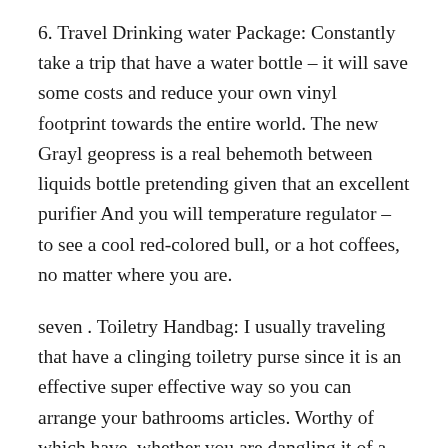6. Travel Drinking water Package: Constantly take a trip that have a water bottle – it will save some costs and reduce your own vinyl footprint towards the entire world. The new Grayl geopress is a real behemoth between liquids bottle pretending given that an excellent purifier And you will temperature regulator – to see a cool red-colored bull, or a hot coffees, no matter where you are.
seven . Toiletry Handbag: I usually traveling that have a clinging toiletry purse since it is an effective super effective way so you can arrange your bathrooms articles. Worthy of which have, whether you are dangling it of a